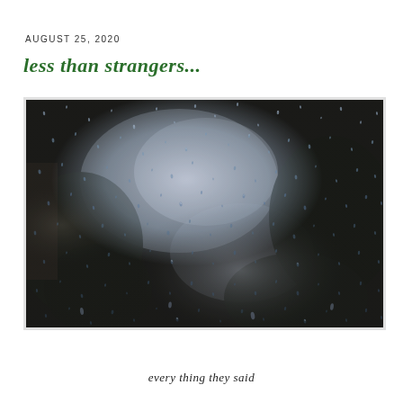AUGUST 25, 2020
less than strangers...
[Figure (photo): Close-up photo of water droplets / rain drops on a glass window pane, with blurred background showing trees and light through the wet glass. Dark, moody black and white tones.]
every thing they said